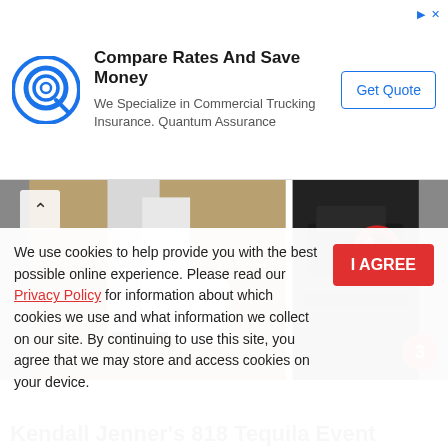[Figure (infographic): Advertisement banner: circular blue Q logo, bold headline 'Compare Rates And Save Money', subtext 'We Specialize in Commercial Trucking Insurance. Quantum Assurance', and a 'Get Quote' button with blue border. Small ad icons (play triangle and X) in top right.]
[Figure (photo): Two-panel image strip: left panel shows lower body shot of a person in white/grey pants and heels on a wooden floor near a white bucket; right panel shows interior of a car with red dial/knob. A chevron-up icon is in top left. A red circle badge with the number 3 is in the bottom right corner.]
Kendall Jenner's 818 Tequila Event Featured Kim Kardashian And Khloé Kardashian Matched In Figure-Hugging Catsuits
We use cookies to help provide you with the best possible online experience. Please read our Privacy Policy for information about which cookies we use and what information we collect on our site. By continuing to use this site, you agree that we may store and access cookies on your device.